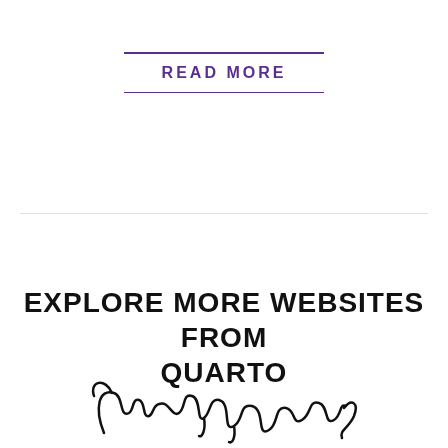READ MORE
EXPLORE MORE WEBSITES FROM QUARTO
[Figure (illustration): Handwritten cursive script signature reading 'Crafter Foster' or similar decorative script logo at the bottom of the page]